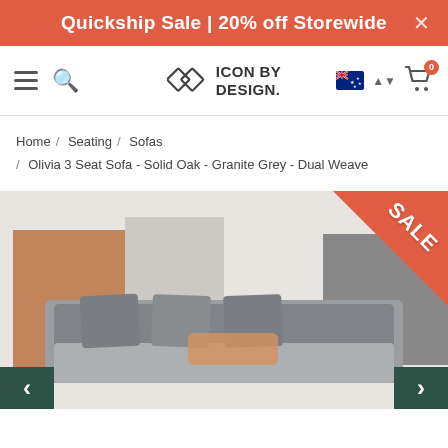Quickship Sale | 20% off Storewide
[Figure (logo): Icon By Design logo with diamond/rhombus geometric icon and bold text]
Home / Seating / Sofas / Olivia 3 Seat Sofa - Solid Oak - Granite Grey - Dual Weave
[Figure (photo): Olivia 3 Seat Sofa product photo showing grey sofa with cushions against a neutral backdrop. SALE badge in top-right corner. Carousel navigation arrows on left and right.]